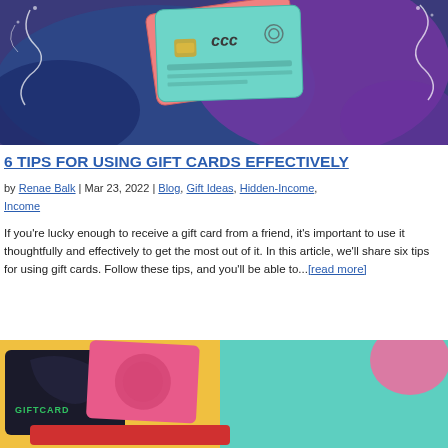[Figure (illustration): Illustrated gift cards / credit cards on a colorful purple and blue watercolor background with decorative swirls]
6 TIPS FOR USING GIFT CARDS EFFECTIVELY
by Renae Balk | Mar 23, 2022 | Blog, Gift Ideas, Hidden-Income, Income
If you're lucky enough to receive a gift card from a friend, it's important to use it thoughtfully and effectively to get the most out of it. In this article, we'll share six tips for using gift cards. Follow these tips, and you'll be able to...[read more]
[Figure (photo): Colorful gift cards fanned out on a teal and yellow background]